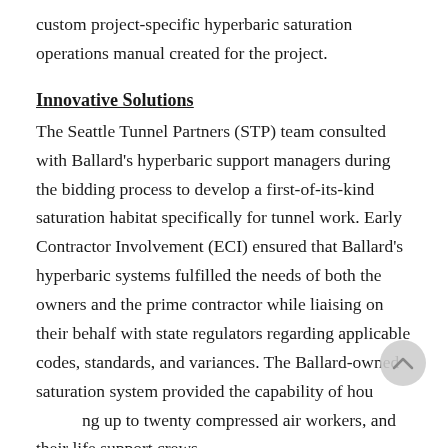custom project-specific hyperbaric saturation operations manual created for the project.
Innovative Solutions
The Seattle Tunnel Partners (STP) team consulted with Ballard's hyperbaric support managers during the bidding process to develop a first-of-its-kind saturation habitat specifically for tunnel work. Early Contractor Involvement (ECI) ensured that Ballard's hyperbaric systems fulfilled the needs of both the owners and the prime contractor while liaising on their behalf with state regulators regarding applicable codes, standards, and variances. The Ballard-owned saturation system provided the capability of housing up to twenty compressed air workers, and their life support crews.